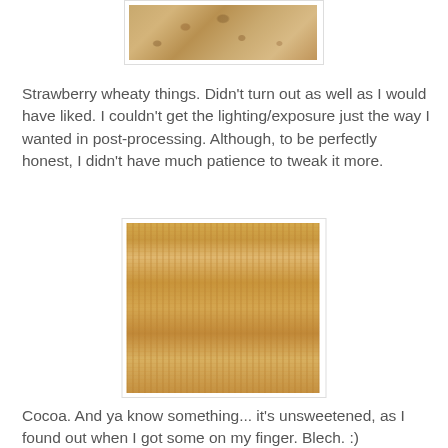[Figure (photo): Close-up photo of a strawberry wheaty bread/cracker texture, showing porous brown interior crumb structure]
Strawberry wheaty things. Didn't turn out as well as I would have liked. I couldn't get the lighting/exposure just the way I wanted in post-processing. Although, to be perfectly honest, I didn't have much patience to tweak it more.
[Figure (photo): Close-up macro photo of layered wheat crackers (Shredded Wheat style) stacked together, showing fibrous texture and layers]
Cocoa. And ya know something... it's unsweetened, as I found out when I got some on my finger. Blech. :)